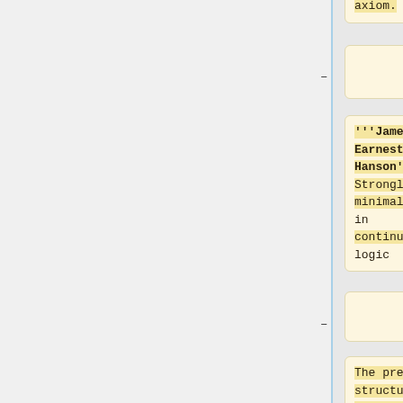axiom.
-
'''James Earnest Hanson''' - Strongly minimal sets in continuous logic
-
The precise structural understanding of uncountably categorical theories given by the